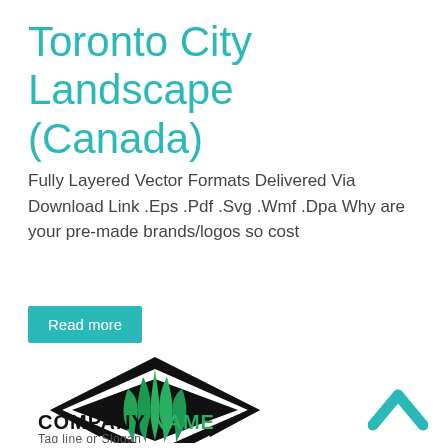Toronto City Landscape (Canada)
Fully Layered Vector Formats Delivered Via Download Link .Eps .Pdf .Svg .Wmf .Dpa Why are your pre-made brands/logos so cost
Read more
[Figure (logo): Landscape company logo: a diamond shape with black outline containing green grass blades growing upward, with 'COMPANY NAME' in bold black and green text below, and 'Tag line or Slogan' as subtitle]
[Figure (other): Teal/cyan upward-pointing chevron arrow icon in bottom right corner]